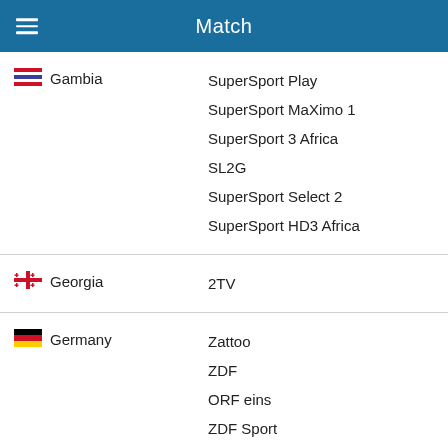Match
Gambia — SuperSport Play, SuperSport MaXimo 1, SuperSport 3 Africa, SL2G, SuperSport Select 2, SuperSport HD3 Africa
Georgia — 2TV
Germany — Zattoo, ZDF, ORF eins, ZDF Sport, ORF TVthek, MDR Aktuell